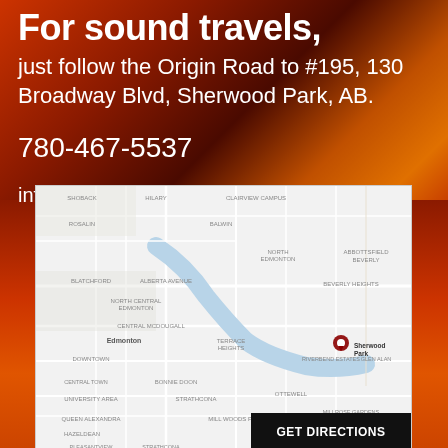For sound travels,
just follow the Origin Road to #195, 130 Broadway Blvd, Sherwood Park, AB.
780-467-5537
info@originroadmusic.com
[Figure (map): Google Maps view showing Edmonton area and Sherwood Park location marked with a red pin. Surrounding neighborhoods including Blatchford, Beverly, University Area, Strathcona, Bonnie Doon, Mill Woods, Terwillegar, and others visible. GET DIRECTIONS button in bottom right.]